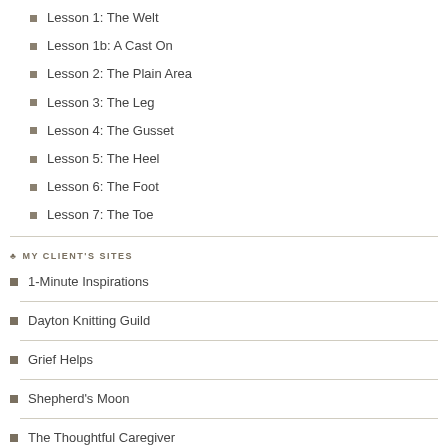Lesson 1: The Welt
Lesson 1b: A Cast On
Lesson 2: The Plain Area
Lesson 3: The Leg
Lesson 4: The Gusset
Lesson 5: The Heel
Lesson 6: The Foot
Lesson 7: The Toe
MY CLIENT'S SITES
1-Minute Inspirations
Dayton Knitting Guild
Grief Helps
Shepherd's Moon
The Thoughtful Caregiver
Willowgreen Publishing